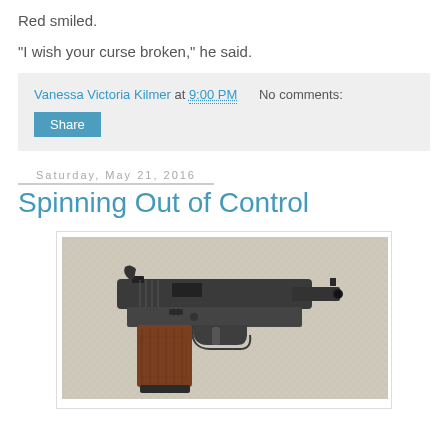Red smiled.
"I wish your curse broken," he said.
Vanessa Victoria Kilmer at 9:00 PM    No comments:
Share
Saturday, May 21, 2016
Spinning Out of Control
[Figure (photo): A semi-automatic pistol with dark metal frame and brown/wood grip, resting on a light fabric surface.]